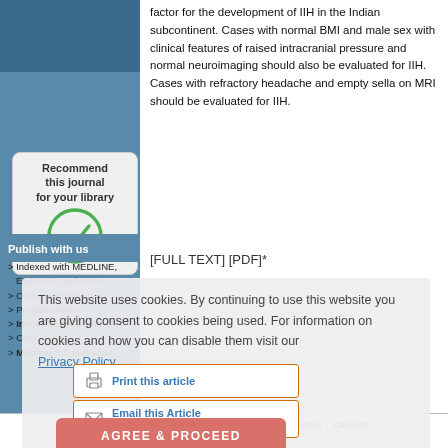factor for the development of IIH in the Indian subcontinent. Cases with normal BMI and male sex with clinical features of raised intracranial pressure and normal neuroimaging should also be evaluated for IIH. Cases with refractory headache and empty sella on MRI should be evaluated for IIH.
[Figure (illustration): Recommend this journal for your library button with green checkmark icon]
Publish with us
> Indexed with MEDLINE, EMBASE, and more
> Online submission
> Prompt review
> Immediate publication
> Open access
> Multiple full-text sites
Click on image for details.
[FULL TEXT] [PDF]*
This website uses cookies. By continuing to use this website you are giving consent to cookies being used. For information on cookies and how you can disable them visit our Privacy Policy.
Print this article
Email this Article to your friend
AGREE & PROCEED
Site Map | Home | Contact Us | Advertise With Us | Feedback | Copyright and Disclaimer | Privacy Notice